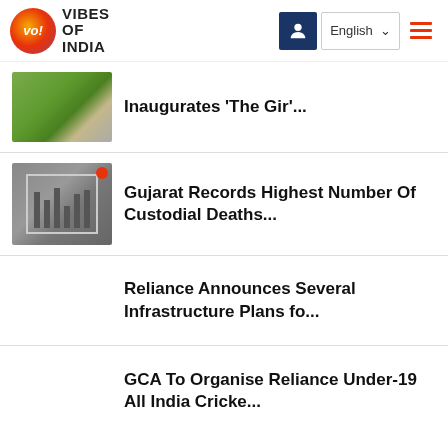Vibes of India - English
Inaugurates 'The Gir'...
Gujarat Records Highest Number Of Custodial Deaths...
Reliance Announces Several Infrastructure Plans fo...
GCA To Organise Reliance Under-19 All India Cricke...